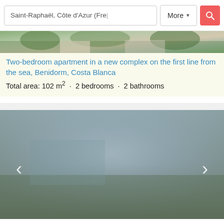Saint-Raphaël, Côte d'Azur (Fre... | More | [search button]
[Figure (photo): Partial top of apartment listing photo, tropical/coastal building with vegetation]
Two-bedroom apartment in a new complex on the first line from the sea, Benidorm, Costa Blanca
Total area: 102 m² · 2 bedrooms · 2 bathrooms
[Figure (photo): Blurred/grey-blue gradient photo of a property exterior for a detached house listing in Saint-Raphaël, Côte d'Azur, with left and right navigation arrows]
Detached house – Saint-Raphaël, Côte d'Azur (French Riviera), France